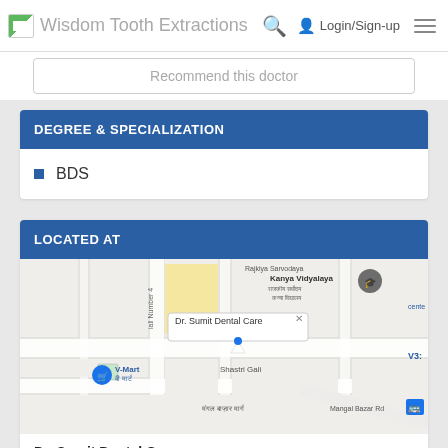Wisdom Tooth Extractions | Login/Sign-up
Recommend this doctor
DEGREE & SPECIALIZATION
BDS
LOCATED AT
[Figure (map): Google Maps view showing Dr. Sumit Dental Care location near Kanya Vidyalaya, V-Mart, Shastri Gali, Mangal Bazar Rd, New Delhi]
Dr. Sumit Dental Care
F-15A, Vikas Marg, Vijay Block, Block E, Guru Nanak Nagar, Laxmi Nagar, New Delhi, Delhi 110092